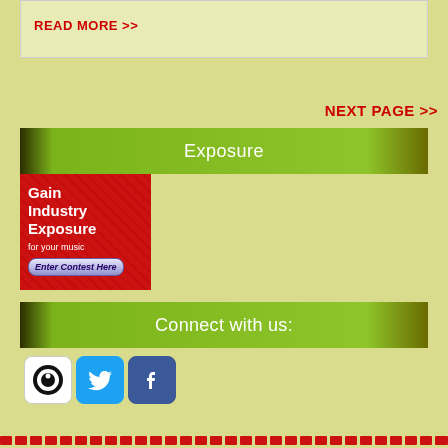READ MORE >>
NEXT PAGE >>
Exposure
[Figure (illustration): Red advertisement box with text 'Gain Industry Exposure for your music' and 'Enter Contest Here' button]
Connect with us:
[Figure (illustration): Three social media icons: a circular black/white icon, Twitter bird icon, and Facebook icon]
Red dashed border stripe at bottom of page